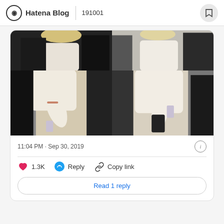Hatena Blog | 191001︎︎︎︎︎︎︎︎︎︎
[Figure (photo): Four-cell photo grid (2x2) showing people in white/beige clothing at what appears to be an airport or transit area. Top row: two cropped photos of people. Bottom row: two photos showing people from waist down holding phones and bags.]
11:04 PM · Sep 30, 2019
♥ 1.3K   Reply   Copy link
Read 1 reply